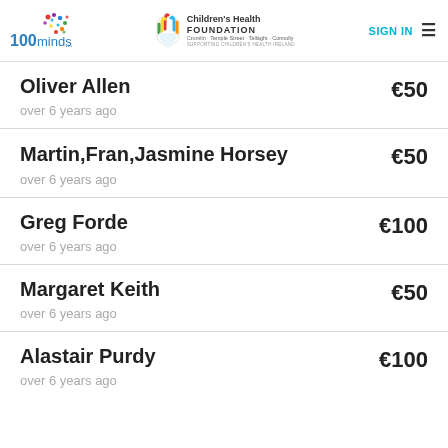100minds | Children's Health Foundation | SIGN IN
Oliver Allen | €50 | over 6 years ago
Martin,Fran,Jasmine Horsey | €50 | over 6 years ago
Greg Forde | €100 | over 6 years ago
Margaret Keith | €50 | over 6 years ago
Alastair Purdy | €100 | over 6 years ago